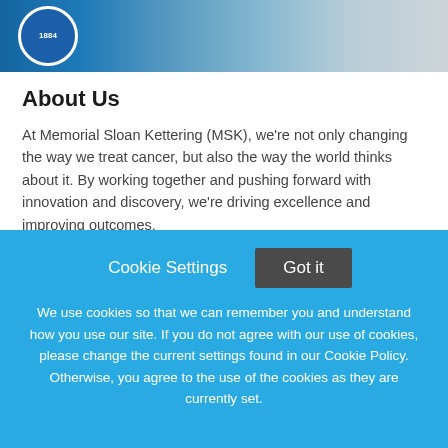[Figure (photo): Top banner image showing a surgeon/medical professional in blue scrubs and mask, with MSK logo circle (1884) on the left side against a blue gradient background.]
About Us
At Memorial Sloan Kettering (MSK), we’re not only changing the way we treat cancer, but also the way the world thinks about it. By working together and pushing forward with innovation and discovery, we’re driving excellence and improving outcomes.
For the 30th year, MSK has been named a top hospital for
Cookie Settings   Got it
We use cookies so that we can remember you and understand how you use our site. If you do not agree with our use of cookies, please change the current settings found in our Cookie Policy. Otherwise, you agree to the use of the cookies as they are currently set.